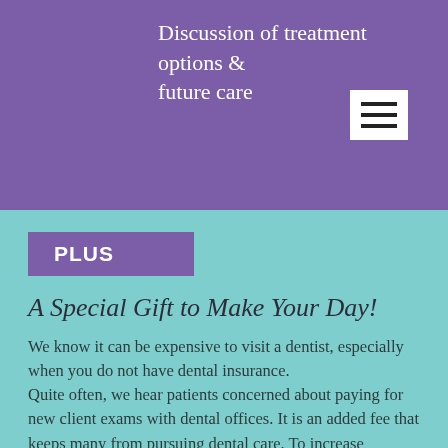Discussion of treatment options & future care
PLUS
A Special Gift to Make Your Day!
We know it can be expensive to visit a dentist, especially when you do not have dental insurance. Quite often, we hear patients concerned about paying for new client exams with dental offices. It is an added fee that keeps many from pursuing dental care. To increase accessibility, we have waived this fee.